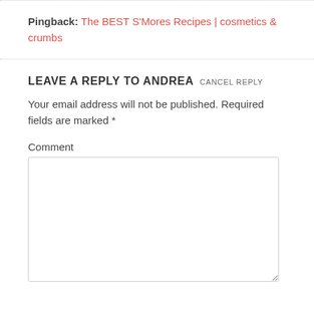Pingback: The BEST S'Mores Recipes | cosmetics & crumbs
LEAVE A REPLY TO ANDREA CANCEL REPLY
Your email address will not be published. Required fields are marked *
Comment